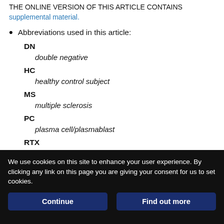THE ONLINE VERSION OF THIS ARTICLE CONTAINS supplemental material.
Abbreviations used in this article:
DN
double negative
HC
healthy control subject
MS
multiple sclerosis
PC
plasma cell/plasmablast
RTX
rituximab
UNT
We use cookies on this site to enhance your user experience. By clicking any link on this page you are giving your consent for us to set cookies.